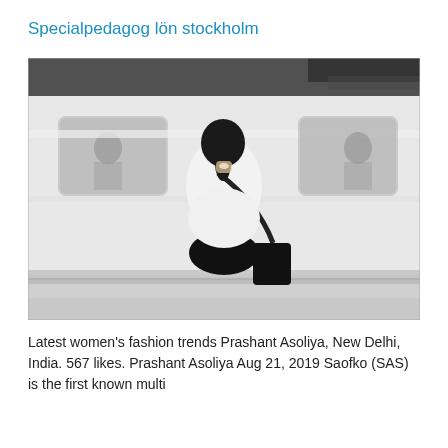Specialpedagog lön stockholm
[Figure (photo): Black and white photo of a woman with dark hair in a ponytail, wearing a white top and carrying a black bag over her shoulder, standing in front of a passing subway/train car with motion blur. The scene is at a metro platform.]
Latest women's fashion trends Prashant Asoliya, New Delhi, India. 567 likes. Prashant Asoliya Aug 21, 2019 Saofko (SAS) is the first known multi